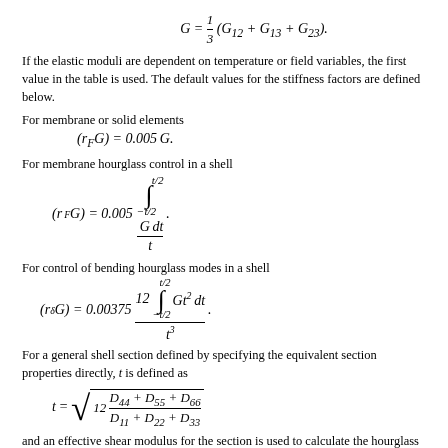If the elastic moduli are dependent on temperature or field variables, the first value in the table is used. The default values for the stiffness factors are defined below.
For membrane or solid elements
For membrane hourglass control in a shell
For control of bending hourglass modes in a shell
For a general shell section defined by specifying the equivalent section properties directly, t is defined as
and an effective shear modulus for the section is used to calculate the hourglass stiffness: